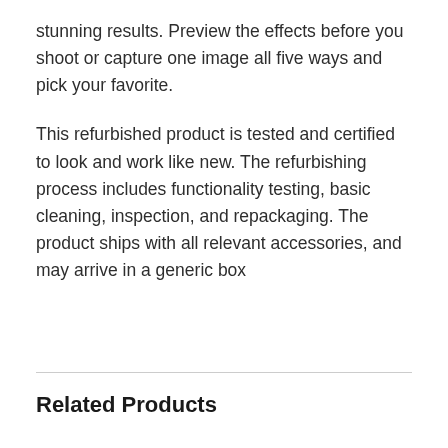stunning results. Preview the effects before you shoot or capture one image all five ways and pick your favorite.
This refurbished product is tested and certified to look and work like new. The refurbishing process includes functionality testing, basic cleaning, inspection, and repackaging. The product ships with all relevant accessories, and may arrive in a generic box
Related Products